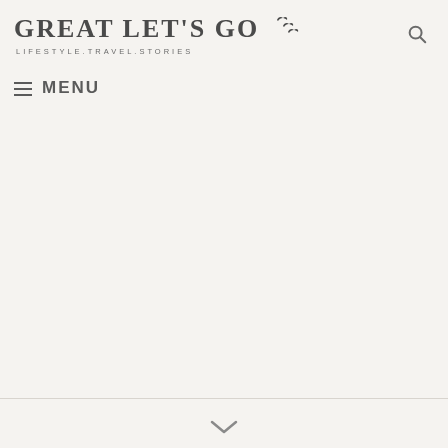GREAT LET'S GO — LIFESTYLE.TRAVEL.STORIES
≡ MENU